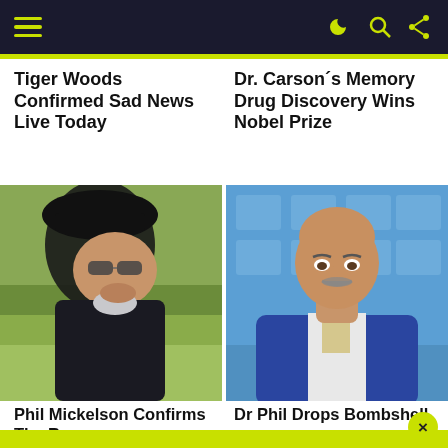Navigation bar with hamburger menu and icons
Tiger Woods Confirmed Sad News Live Today
Dr. Carson´s Memory Drug Discovery Wins Nobel Prize
[Figure (photo): Photo of Phil Mickelson in a dark cap and sunglasses outdoors on a golf course]
[Figure (photo): Photo of Dr. Phil in a blue suit against a blue studio background]
Phil Mickelson Confirms The Rumors
Dr Phil Drops Bombshell
[Figure (photo): Partial photo of a bald man with glasses in front of a THINK sign]